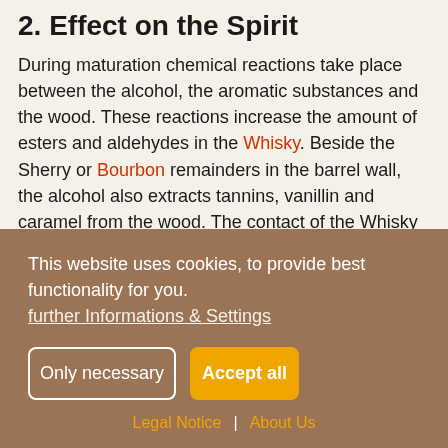2. Effect on the Spirit
During maturation chemical reactions take place between the alcohol, the aromatic substances and the wood. These reactions increase the amount of esters and aldehydes in the Whisky. Beside the Sherry or Bourbon remainders in the barrel wall, the alcohol also extracts tannins, vanillin and caramel from the wood. The contact of the Whisky with the wood of the cask wall is therefore essential. Due to its larger volume (250l), only 75% of the cask wall of a hogshead has contact with the Whisky compared to a smaller barrel (158l). With a Sherry butt (500l) it is even only 50% of the surface
This website uses cookies, to provide best functionality for you.
further Informations & Settings
Only necessary
Accept all
Legal Notice | About Us